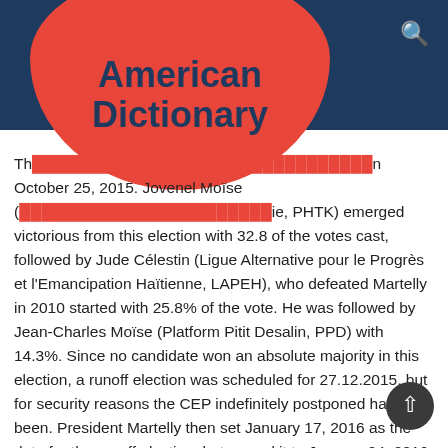American Dictionary
The election was held on October 25, 2015. Jovenel Moïse (Haitian Tet Kale, PHTK) emerged victorious from this election with 32.8 of the votes cast, followed by Jude Célestin (Ligue Alternative pour le Progrès et l'Emancipation Haïtienne, LAPEH), who defeated Martelly in 2010 started with 25.8% of the vote. He was followed by Jean-Charles Moïse (Platform Pitit Desalin, PPD) with 14.3%. Since no candidate won an absolute majority in this election, a runoff election was scheduled for 27.12.2015, but for security reasons the CEP indefinitely postponed has been. President Martelly then set January 17, 2016 as the date for the runoff election, but moved it to January 24, 2016 on January 7, 2016. Célestin accused the government of electoral fraud and threatened to withdraw his candidacy, whereupon the CEP canceled the runoff elections again for security reasons.